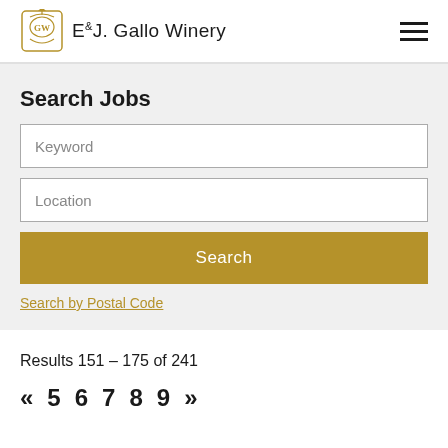E&J. Gallo Winery
Search Jobs
Keyword
Location
Search
Search by Postal Code
Results 151 – 175 of 241
« 5 6 7 8 9 »